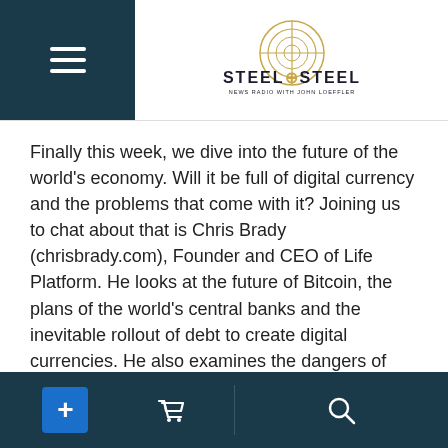Steel on Steel — News Radio with John Loeffler
Finally this week, we dive into the future of the world's economy. Will it be full of digital currency and the problems that come with it? Joining us to chat about that is Chris Brady (chrisbrady.com), Founder and CEO of Life Platform. He looks at the future of Bitcoin, the plans of the world's central banks and the inevitable rollout of debt to create digital currencies. He also examines the dangers of going with a digital currency, especially the tracking aspect and the programmability standards.
Navigation bar with plus, cart, and search icons